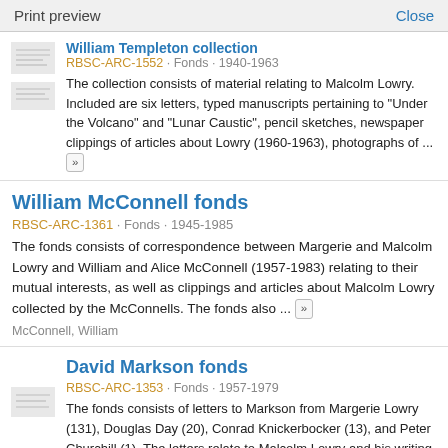Print preview   Close
William Templeton collection
RBSC-ARC-1552 · Fonds · 1940-1963
The collection consists of material relating to Malcolm Lowry. Included are six letters, typed manuscripts pertaining to "Under the Volcano" and "Lunar Caustic", pencil sketches, newspaper clippings of articles about Lowry (1960-1963), photographs of ... »
William McConnell fonds
RBSC-ARC-1361 · Fonds · 1945-1985
The fonds consists of correspondence between Margerie and Malcolm Lowry and William and Alice McConnell (1957-1983) relating to their mutual interests, as well as clippings and articles about Malcolm Lowry collected by the McConnells. The fonds also ... »
McConnell, William
David Markson fonds
RBSC-ARC-1353 · Fonds · 1957-1979
The fonds consists of letters to Markson from Margerie Lowry (131), Douglas Day (20), Conrad Knickerbocker (13), and Peter Churchill (1). The letters relate to Malcolm Lowry and his writing. The fonds also includes